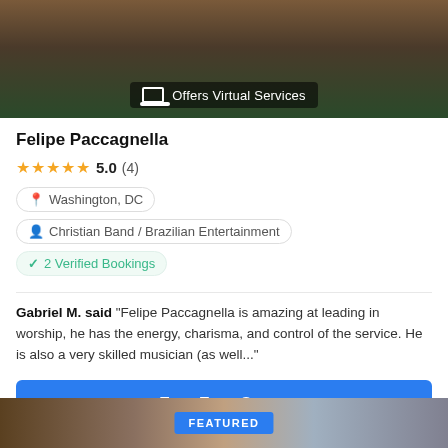[Figure (photo): Photo of Felipe Paccagnella outdoors with guitar, with 'Offers Virtual Services' badge overlay]
Felipe Paccagnella
★★★★★ 5.0 (4)
Washington, DC
Christian Band / Brazilian Entertainment
✓ 2 Verified Bookings
Gabriel M. said "Felipe Paccagnella is amazing at leading in worship, he has the energy, charisma, and control of the service. He is also a very skilled musician (as well..."
Fast Free Quote
[Figure (photo): Bottom strip showing partial featured listing photo with FEATURED label]